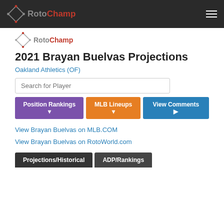RotoChamp
[Figure (logo): RotoChamp logo with diamond shape icon]
2021 Brayan Buelvas Projections
Oakland Athletics (OF)
Search for Player
Position Rankings | MLB Lineups | View Comments
View Brayan Buelvas on MLB.COM
View Brayan Buelvas on RotoWorld.com
Projections/Historical | ADP/Rankings